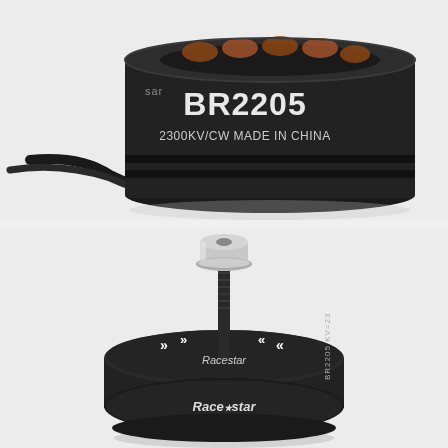[Figure (photo): Close-up photo of a Racestar BR2205 2300KV/CW brushless motor from the side/top. The black motor shows the label 'BR2205' in large white text and '2300KV/CW MADE IN CHINA' below it. A black cable exits from the left side.]
[Figure (photo): Close-up photo of a Racestar BR2205 brushless motor viewed from a slightly elevated angle showing the top with a silver aluminum prop nut/adapter and the motor body with 'Racestar' branding and chevron/arrow graphics on the black anodized body. Orange copper windings are visible through ventilation holes.]